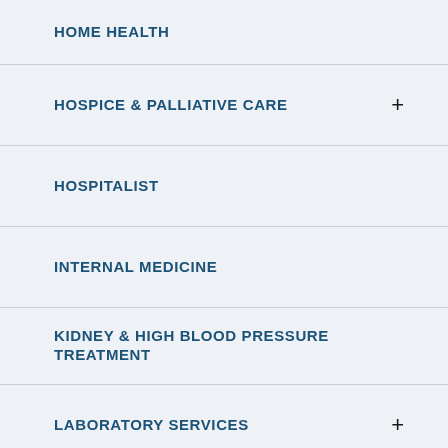HOME HEALTH
HOSPICE & PALLIATIVE CARE
HOSPITALIST
INTERNAL MEDICINE
KIDNEY & HIGH BLOOD PRESSURE TREATMENT
LABORATORY SERVICES
MASSAGE THERAPY
MEDICAL ASSISTANCE TRANSPORTATION
MIND-BODY WELLNESS CENTER